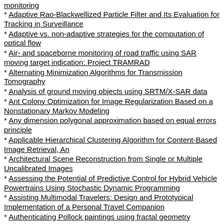monitoring
* Adaptive Rao-Blackwellized Particle Filter and Its Evaluation for Tracking in Surveillance
* Adaptive vs. non-adaptive strategies for the computation of optical flow
* Air- and spaceborne monitoring of road traffic using SAR moving target indication: Project TRAMRAD
* Alternating Minimization Algorithms for Transmission Tomography
* Analysis of ground moving objects using SRTM/X-SAR data
* Ant Colony Optimization for Image Regularization Based on a Nonstationary Markov Modeling
* Any dimension polygonal approximation based on equal errors principle
* Applicable Hierarchical Clustering Algorithm for Content-Based Image Retrieval, An
* Architectural Scene Reconstruction from Single or Multiple Uncalibrated Images
* Assessing the Potential of Predictive Control for Hybrid Vehicle Powertrains Using Stochastic Dynamic Programming
* Assisting Multimodal Travelers: Design and Prototypical Implementation of a Personal Travel Companion
* Authenticating Pollock paintings using fractal geometry
* Automatic analysis and integration of architectural drawings